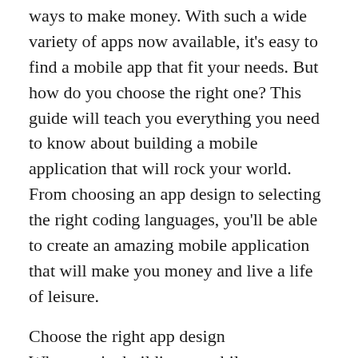ways to make money. With such a wide variety of apps now available, it's easy to find a mobile app that fit your needs. But how do you choose the right one? This guide will teach you everything you need to know about building a mobile application that will rock your world. From choosing an app design to selecting the right coding languages, you'll be able to create an amazing mobile application that will make you money and live a life of leisure.
Choose the right app design
When you're building a mobile application, you have a lot of options to choose from. But the most important thing is to choose an app design that will fit your business and your needs.